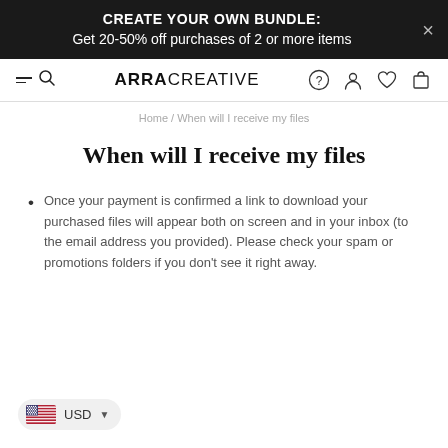CREATE YOUR OWN BUNDLE: Get 20-50% off purchases of 2 or more items
[Figure (screenshot): Navigation bar with hamburger/search icon on left, ARRA CREATIVE logo in center, and icons (help, account, wishlist, cart) on right]
Home / When will I receive my files
When will I receive my files
Once your payment is confirmed a link to download your purchased files will appear both on screen and in your inbox (to the email address you provided). Please check your spam or promotions folders if you don't see it right away.
[Figure (illustration): US flag icon with USD currency selector dropdown]